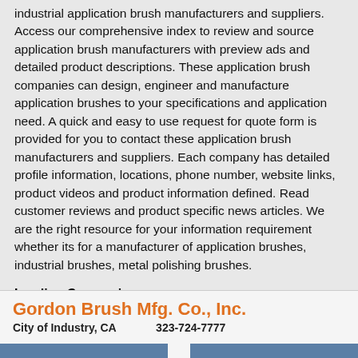industrial application brush manufacturers and suppliers. Access our comprehensive index to review and source application brush manufacturers with preview ads and detailed product descriptions. These application brush companies can design, engineer and manufacture application brushes to your specifications and application need. A quick and easy to use request for quote form is provided for you to contact these application brush manufacturers and suppliers. Each company has detailed profile information, locations, phone number, website links, product videos and product information defined. Read customer reviews and product specific news articles. We are the right resource for your information requirement whether its for a manufacturer of application brushes, industrial brushes, metal polishing brushes.
Leading Companies:
Gordon Brush Mfg. Co., Inc.
City of Industry, CA    323-724-7777